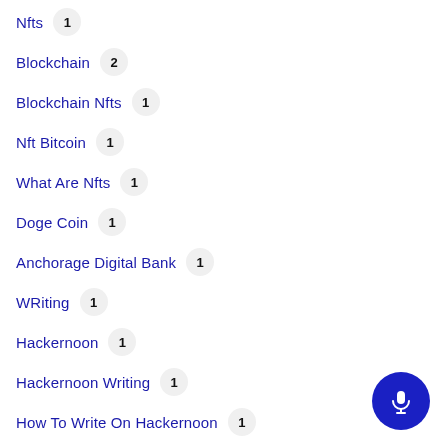Nfts 1
Blockchain 2
Blockchain Nfts 1
Nft Bitcoin 1
What Are Nfts 1
Doge Coin 1
Anchorage Digital Bank 1
WRiting 1
Hackernoon 1
Hackernoon Writing 1
How To Write On Hackernoon 1
Whistleblowing 1